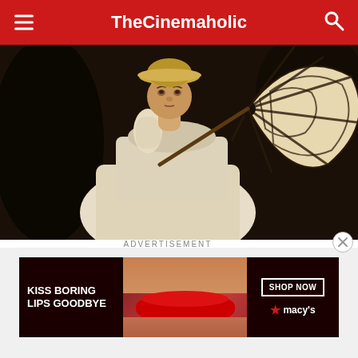TheCinemaholic
[Figure (photo): A person wearing a period floral dress and decorative hat, holding a striped umbrella resembling a spider web, finger to lips in a thoughtful pose, against a dark background.]
ADVERTISEMENT
[Figure (infographic): Macy's advertisement banner: 'KISS BORING LIPS GOODBYE' with a close-up of red lips, a 'SHOP NOW' button, and the Macy's logo with star.]